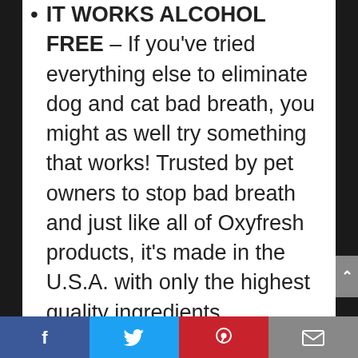IT WORKS ALCOHOL FREE – If you've tried everything else to eliminate dog and cat bad breath, you might as well try something that works! Trusted by pet owners to stop bad breath and just like all of Oxyfresh products, it's made in the U.S.A. with only the highest quality ingredients.
CLEAN TEETH AND GUMS – The easiest way to clean your dog or cat's teeth, fight periodontal disease, and strengthen their gum tissue. Recommended by veterinarians across the country.
Facebook | Twitter | Pinterest | Email